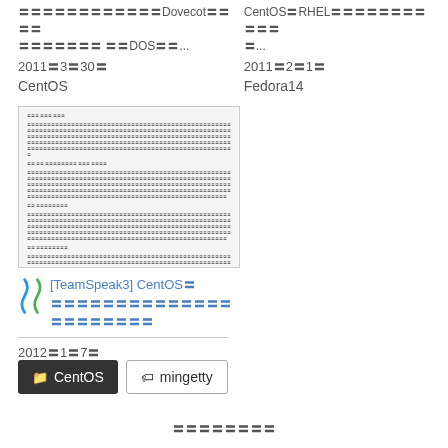DovecotのメールボックスをDOS形…  2011年3月30日  CentOS
CentOS・RHELにおけるパッケー ジ…  2011年2月1日  Fedora14
[Figure (screenshot): Thumbnail screenshot of a document page with dark header bar and text content, with a red-bordered highlight box near the bottom]
[TeamSpeak3] CentOSにおける〇〇〇〇〇〇〇〇〇〇〇〇〇〇〇〇〇〇〇〇
2012年1月7日  CentOS
CentOS  mingetty
ページナビゲーション